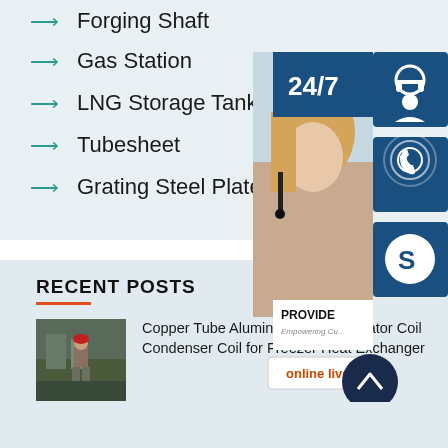Forging Shaft
Gas Station
LNG Storage Tank
Tubesheet
Grating Steel Plate
[Figure (photo): Customer support representative widget with 24/7 badge, headset icon, phone icon, Skype icon, and online live button]
RECENT POSTS
[Figure (photo): Worker in industrial setting, outdoor construction or manufacturing scene]
Copper Tube Aluminum Fin Evaporator Coil Condenser Coil for Freezer Heat Exchanger